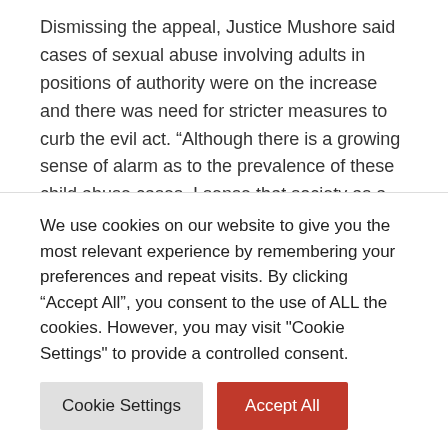Dismissing the appeal, Justice Mushore said cases of sexual abuse involving adults in positions of authority were on the increase and there was need for stricter measures to curb the evil act. “Although there is a growing sense of alarm as to the prevalence of these child abuse cases, I sense that society as a whole is also becoming de-sensitised as to the gravity of these offences,” she said.
“In a recent article published in Volume 1 of the Zimbabwe
We use cookies on our website to give you the most relevant experience by remembering your preferences and repeat visits. By clicking “Accept All”, you consent to the use of ALL the cookies. However, you may visit "Cookie Settings" to provide a controlled consent.